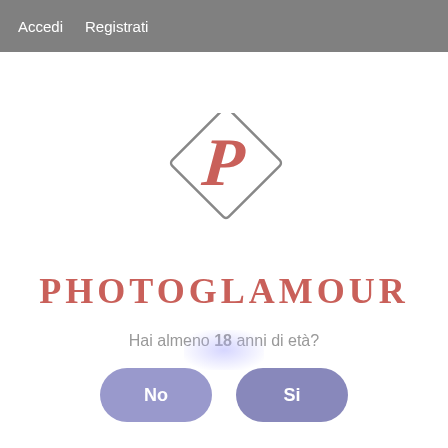Accedi   Registrati
[Figure (logo): Diamond-shaped logo with a stylized red letter P inside, above the text PHOTOGLAMOUR]
PHOTOGLAMOUR
Hai almeno 18 anni di età?
No
Si